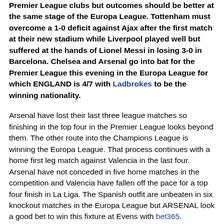Premier League clubs but outcomes should be better at the same stage of the Europa League. Tottenham must overcome a 1-0 deficit against Ajax after the first match at their new stadium while Liverpool played well but suffered at the hands of Lionel Messi in losing 3-0 in Barcelona. Chelsea and Arsenal go into bat for the Premier League this evening in the Europa League for which ENGLAND is 4/7 with Ladbrokes to be the winning nationality.
Arsenal have lost their last three league matches so finishing in the top four in the Premier League looks beyond them. The other route into the Champions League is winning the Europa League. That process continues with a home first leg match against Valencia in the last four. Arsenal have not conceded in five home matches in the competition and Valencia have fallen off the pace for a top four finish in La Liga. The Spanish outfit are unbeaten in six knockout matches in the Europa League but ARSENAL look a good bet to win this fixture at Evens with bet365.
Chelsea are at Eintracht Frankfurt in their first leg last four